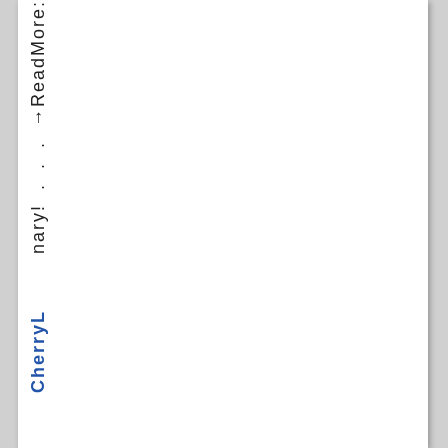nary! . . . →ReadMore:
CherryL